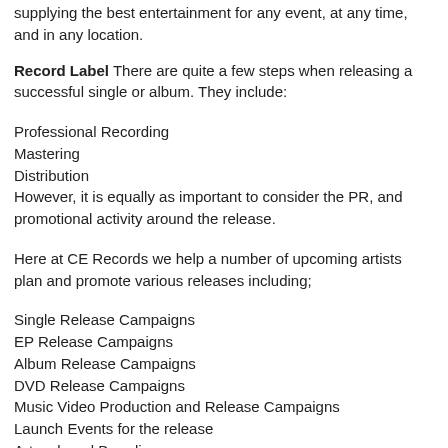supplying the best entertainment for any event, at any time, and in any location.
Record Label There are quite a few steps when releasing a successful single or album. They include:
Professional Recording
Mastering
Distribution
However, it is equally as important to consider the PR, and promotional activity around the release.
Here at CE Records we help a number of upcoming artists plan and promote various releases including;
Single Release Campaigns
EP Release Campaigns
Album Release Campaigns
DVD Release Campaigns
Music Video Production and Release Campaigns
Launch Events for the release
Artwork and Branding
Lyrical Music Videos